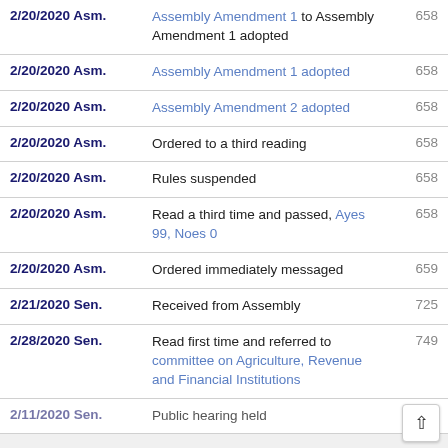| Date/Chamber | Action | Page |
| --- | --- | --- |
| 2/20/2020 Asm. | Assembly Amendment 1 to Assembly Amendment 1 adopted | 658 |
| 2/20/2020 Asm. | Assembly Amendment 1 adopted | 658 |
| 2/20/2020 Asm. | Assembly Amendment 2 adopted | 658 |
| 2/20/2020 Asm. | Ordered to a third reading | 658 |
| 2/20/2020 Asm. | Rules suspended | 658 |
| 2/20/2020 Asm. | Read a third time and passed, Ayes 99, Noes 0 | 658 |
| 2/20/2020 Asm. | Ordered immediately messaged | 659 |
| 2/21/2020 Sen. | Received from Assembly | 725 |
| 2/28/2020 Sen. | Read first time and referred to committee on Agriculture, Revenue and Financial Institutions | 749 |
| 2/11/2020 Sen. | Public hearing held |  |